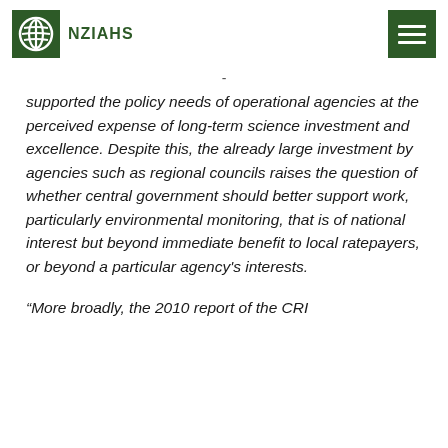NZIAHS
supported the policy needs of operational agencies at the perceived expense of long-term science investment and excellence. Despite this, the already large investment by agencies such as regional councils raises the question of whether central government should better support work, particularly environmental monitoring, that is of national interest but beyond immediate benefit to local ratepayers, or beyond a particular agency's interests.
“More broadly, the 2010 report of the CRI